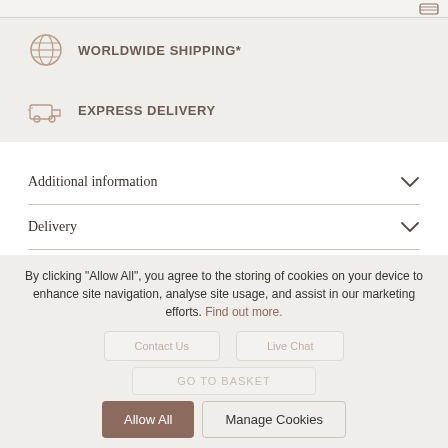WORLDWIDE SHIPPING*
EXPRESS DELIVERY
Additional information
Delivery
HAVE A QUESTION?
We're here to help
By clicking "Allow All", you agree to the storing of cookies on your device to enhance site navigation, analyse site usage, and assist in our marketing efforts. Find out more.
Allow All
Manage Cookies